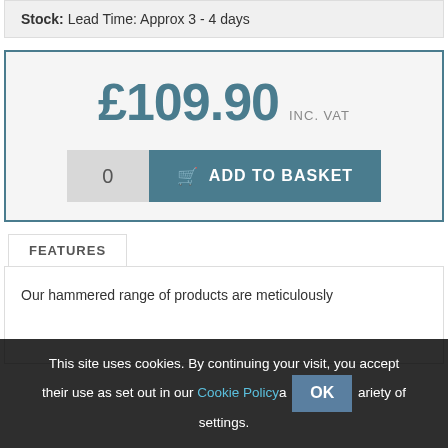Stock: Lead Time: Approx 3 - 4 days
£109.90 INC. VAT
0  ADD TO BASKET
FEATURES
Our hammered range of products are meticulously
This site uses cookies. By continuing your visit, you accept their use as set out in our Cookie Policy. OK a variety of settings.